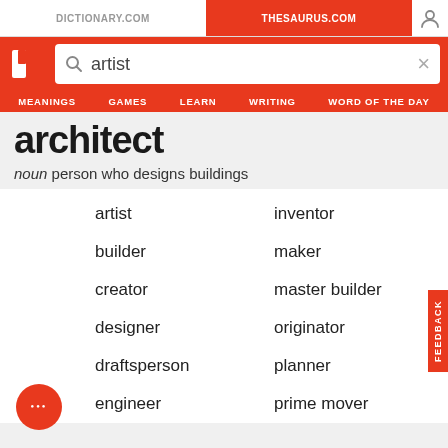DICTIONARY.COM | THESAURUS.COM
architect
noun person who designs buildings
artist
inventor
builder
maker
creator
master builder
designer
originator
draftsperson
planner
engineer
prime mover